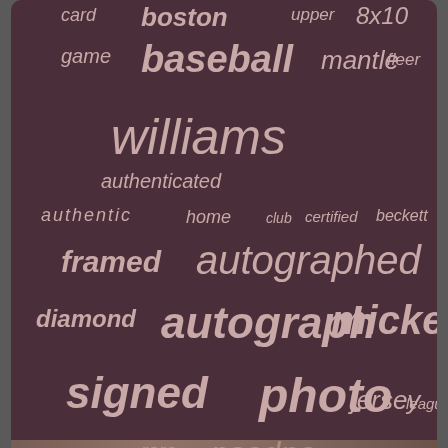[Figure (infographic): Word cloud on dark maroon background containing baseball-related terms in varying sizes: card, boston, upper, 8x10, game, baseball, mantle, fleer, williams, authenticated, authentic, home, club, certified, beckett, framed, autographed, diamond, autograph, mickey, signed, photo, jersey, league, rare, psadna]
Homepage
Contact Us
Privacy Policy Agreement